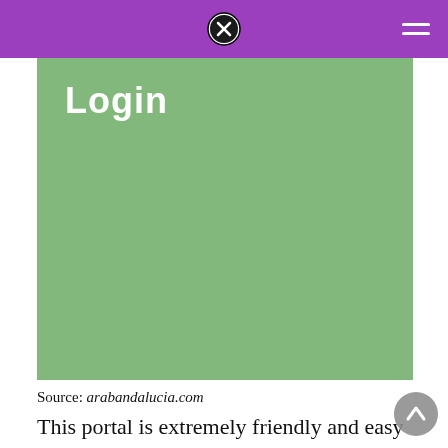[Figure (screenshot): A green rectangle (login page screenshot) with bold white 'Login' text in the upper left corner.]
Source: arabandalucia.com
This portal is extremely friendly and easy to use for any user. My a⨯s is the first view